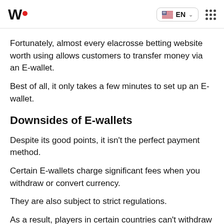W• EN
Fortunately, almost every elacrosse betting website worth using allows customers to transfer money via an E-wallet.
Best of all, it only takes a few minutes to set up an E-wallet.
Downsides of E-wallets
Despite its good points, it isn't the perfect payment method.
Certain E-wallets charge significant fees when you withdraw or convert currency.
They are also subject to strict regulations.
As a result, players in certain countries can't withdraw their winnings.
In addition, there are also some other...